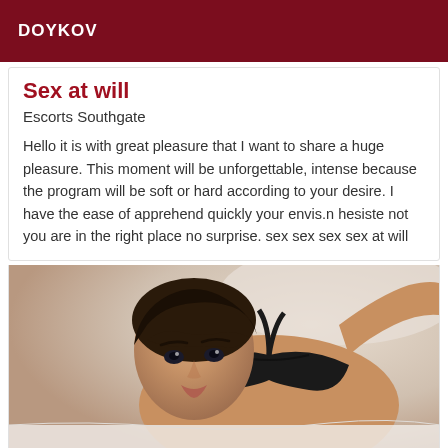DOYKOV
Sex at will
Escorts Southgate
Hello it is with great pleasure that I want to share a huge pleasure. This moment will be unforgettable, intense because the program will be soft or hard according to your desire. I have the ease of apprehend quickly your envis.n hesiste not you are in the right place no surprise. sex sex sex sex at will
[Figure (photo): A woman with dark short hair and bangs, wearing a black bra, lying on a bed, looking at the camera.]